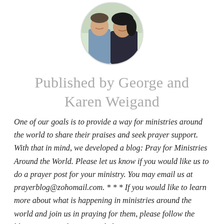[Figure (photo): Circular portrait photo of a man and woman couple, appearing to be George and Karen Weigand]
Published by George and Karen Weigand
One of our goals is to provide a way for ministries around the world to share their praises and seek prayer support. With that in mind, we developed a blog: Pray for Ministries Around the World. Please let us know if you would like us to do a prayer post for your ministry. You may email us at prayerblog@zohomail.com. * * * If you would like to learn more about what is happening in ministries around the world and join us in praying for them, please follow the blog. * * * We also want to help